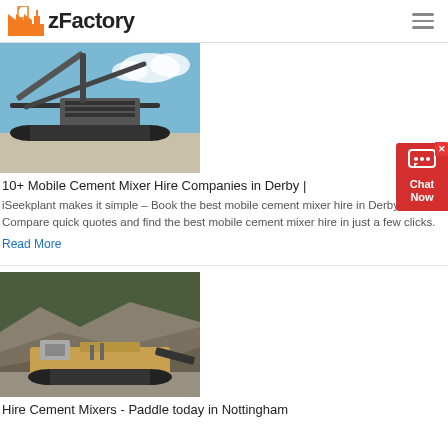zFactory
[Figure (photo): Industrial mobile cement mixer / screening equipment on a construction site with blue sky background]
10+ Mobile Cement Mixer Hire Companies in Derby |
iSeekplant makes it simple – Book the best mobile cement mixer hire in Derby. Compare quick quotes and find the best mobile cement mixer hire in just a few clicks.
Read More
[Figure (photo): Heavy construction machinery / paving/milling machine working on gravel terrain with rocky landscape background]
Hire Cement Mixers - Paddle today in Nottingham